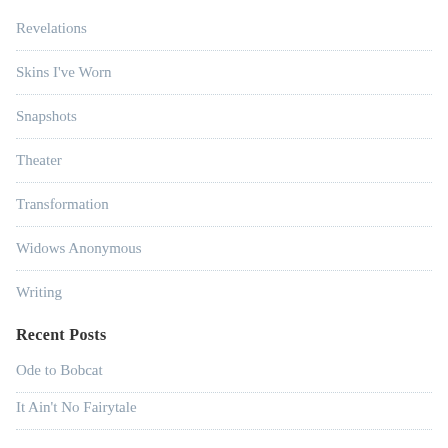Revelations
Skins I've Worn
Snapshots
Theater
Transformation
Widows Anonymous
Writing
Recent Posts
Ode to Bobcat
It Ain't No Fairytale